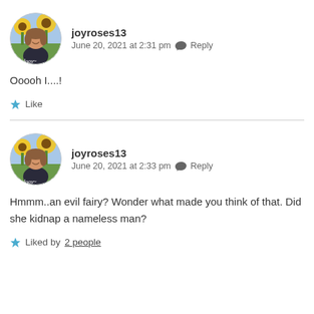[Figure (photo): Circular avatar of joyroses13 showing a woman in front of sunflowers with cursive 'love' text]
joyroses13
June 20, 2021 at 2:31 pm  Reply
Ooooh I....!
★ Like
[Figure (photo): Circular avatar of joyroses13 showing a woman in front of sunflowers with cursive 'love' text]
joyroses13
June 20, 2021 at 2:33 pm  Reply
Hmmm..an evil fairy? Wonder what made you think of that. Did she kidnap a nameless man?
★ Liked by 2 people